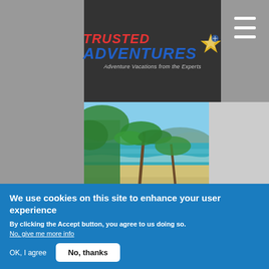[Figure (logo): Trusted Adventures logo with red TRUSTED text, blue ADVENTURES text, tagline 'Adventure Vacations from the Experts', and star/globe graphic]
[Figure (photo): Tropical beach scene with palm trees, sandy beach, turquoise water, and mountains in background]
Costa Rica
by Kadene Buchanan
EXPLORE MORE
We use cookies on this site to enhance your user experience
By clicking the Accept button, you agree to us doing so.
No, give me more info
OK, I agree
No, thanks